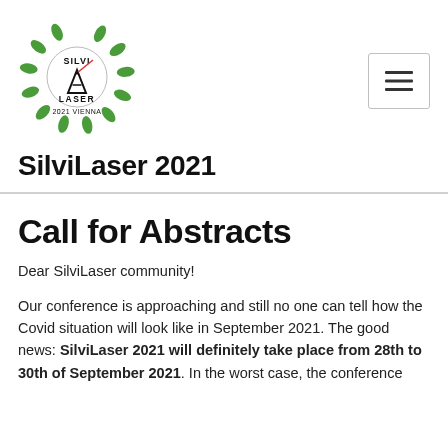[Figure (logo): SilviLaser 2021 Vienna logo — circular arrangement of green leaves with a clock/laser pointer element and the text SILVI LASER 2021 VIENNA in the center]
SilviLaser 2021
Call for Abstracts
Dear SilviLaser community!
Our conference is approaching and still no one can tell how the Covid situation will look like in September 2021. The good news: SilviLaser 2021 will definitely take place from 28th to 30th of September 2021. In the worst case, the conference